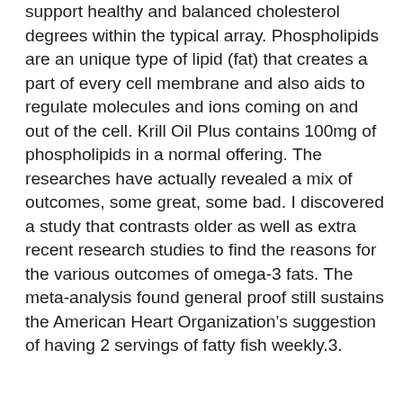support healthy and balanced cholesterol degrees within the typical array. Phospholipids are an unique type of lipid (fat) that creates a part of every cell membrane and also aids to regulate molecules and ions coming on and out of the cell. Krill Oil Plus contains 100mg of phospholipids in a normal offering. The researches have actually revealed a mix of outcomes, some great, some bad. I discovered a study that contrasts older as well as extra recent research studies to find the reasons for the various outcomes of omega-3 fats. The meta-analysis found general proof still sustains the American Heart Organization’s suggestion of having 2 servings of fatty fish weekly.3.